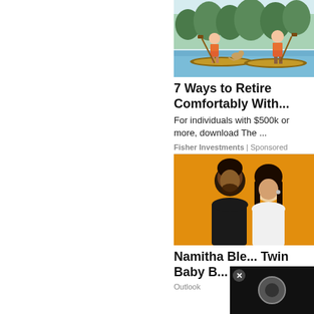[Figure (illustration): Two people paddle boarding on a lake with a dog, illustrated in a sketchy style with trees in background]
7 Ways to Retire Comfortably With...
For individuals with $500k or more, download The ...
Fisher Investments | Sponsored
[Figure (photo): A man and a woman posing in front of an orange/yellow background — Namitha and partner]
Namitha Ble... Twin Baby B...
Outlook